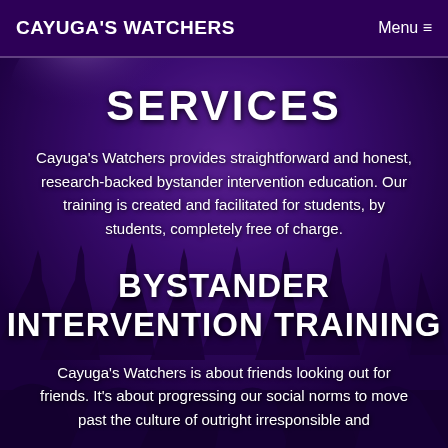CAYUGA'S WATCHERS   Menu ≡
[Figure (photo): Background photo of a crowd with hands raised at an event, with purple/violet lighting overlay]
SERVICES
Cayuga's Watchers provides straightforward and honest, research-backed bystander intervention education. Our training is created and facilitated for students, by students, completely free of charge.
BYSTANDER INTERVENTION TRAINING
Cayuga's Watchers is about friends looking out for friends. It's about progressing our social norms to move past the culture of outright irresponsible and